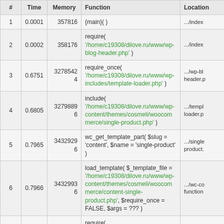| # | Time | Memory | Function | Location |
| --- | --- | --- | --- | --- |
| 1 | 0.0001 | 357816 | {main}( ) | .../index |
| 2 | 0.0002 | 358176 | require( '/home/c19308/dilove.ru/www/wp-blog-header.php' ) | .../index |
| 3 | 0.6751 | 32785424 | require_once( '/home/c19308/dilove.ru/www/wp-includes/template-loader.php' ) | .../wp-bl header.p |
| 4 | 0.6805 | 32798896 | include( '/home/c19308/dilove.ru/www/wp-content/themes/cosmeli/woocommerce/single-product.php' ) | .../templ loader.p |
| 5 | 0.7965 | 34329296 | wc_get_template_part( $slug = 'content', $name = 'single-product' ) | .../single product. |
| 6 | 0.7966 | 34329936 | load_template( $_template_file = '/home/c19308/dilove.ru/www/wp-content/themes/cosmeli/woocommerce/content-single-product.php', $require_once = FALSE, $args = ??? ) | .../wc-co function |
| 7 | 0.7968 | 34330512 | require( '/home/c19308/dilove.ru/www/wp-content/themes/cosmeli/woocommerce/content-single-product.php' ) | .../templ |